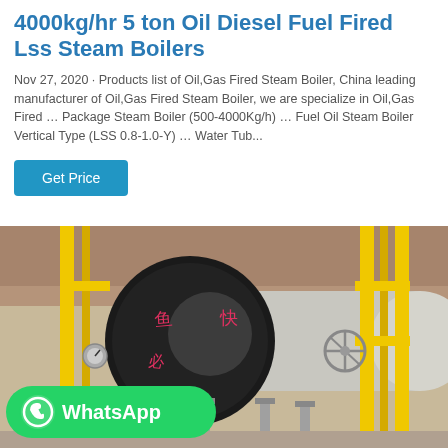4000kg/hr 5 ton Oil Diesel Fuel Fired Lss Steam Boilers
Nov 27, 2020 · Products list of Oil,Gas Fired Steam Boiler, China leading manufacturer of Oil,Gas Fired Steam Boiler, we are specialize in Oil,Gas Fired … Package Steam Boiler (500-4000Kg/h) … Fuel Oil Steam Boiler Vertical Type (LSS 0.8-1.0-Y) … Water Tub...
[Figure (photo): Industrial oil/gas fired steam boilers in a factory setting with yellow gas pipes, pressure gauges, valves, and a large cylindrical boiler vessel with Chinese characters. A WhatsApp contact badge is overlaid in the lower-left corner.]